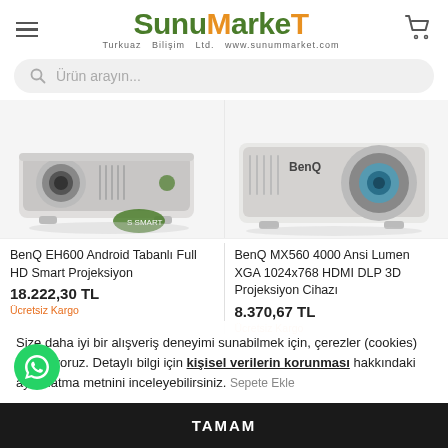[Figure (logo): SunuMarket logo with hamburger menu and cart icon]
Ürün arayın...
[Figure (photo): BenQ EH600 projector product image]
[Figure (photo): BenQ MX560 projector product image]
BenQ EH600 Android Tabanlı Full HD Smart Projeksiyon
18.222,30 TL
Ücretsiz Kargo
BenQ MX560 4000 Ansi Lumen XGA 1024x768 HDMI DLP 3D Projeksiyon Cihazı
8.370,67 TL
Ücretsiz Kargo
Sepete Ekle
Size daha iyi bir alışveriş deneyimi sunabilmek için, çerezler (cookies) kullanıyoruz. Detaylı bilgi için kişisel verilerin korunması hakkındaki aydınlatma metnini inceleyebilirsiniz.
TAMAM